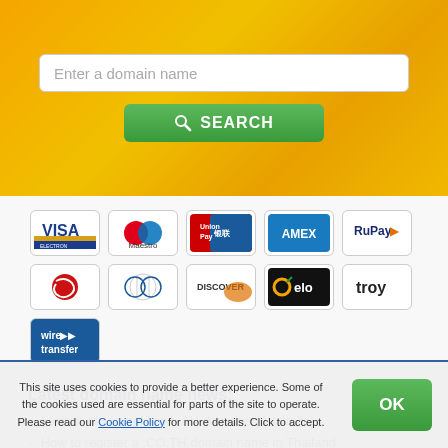[Figure (screenshot): Domain name search bar with orange gradient background and green SEARCH button]
[Figure (infographic): Payment method icons: Visa Electron, Maestro, UnionPay, AMEX, RuPay, (red swirl), Diners Club, Discover, elo, troy, wire transfer]
Latest domain name news:
Launch of second level .AU domains (Australia)
How to register a .CO.TH domain name in Thailand
Benefits of SSL certificate
Why should you register .STORE domain?
This site uses cookies to provide a better experience. Some of the cookies used are essential for parts of the site to operate. Please read our Cookie Policy for more details. Click to accept.